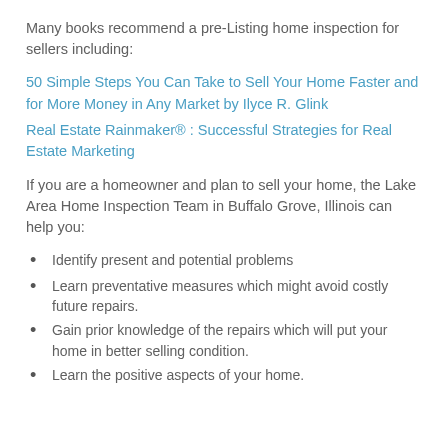Many books recommend a pre-Listing home inspection for sellers including:
50 Simple Steps You Can Take to Sell Your Home Faster and for More Money in Any Market by Ilyce R. Glink
Real Estate Rainmaker® : Successful Strategies for Real Estate Marketing
If you are a homeowner and plan to sell your home, the Lake Area Home Inspection Team in Buffalo Grove, Illinois can help you:
Identify present and potential problems
Learn preventative measures which might avoid costly future repairs.
Gain prior knowledge of the repairs which will put your home in better selling condition.
Learn the positive aspects of your home.